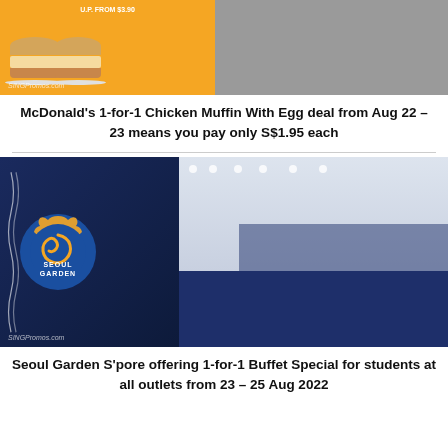[Figure (photo): McDonald's Chicken Muffin With Egg promotional image: orange background on left with two stacked muffin sandwiches on a plate and 'U.P. FROM $3.90' label, right side shows a grey/blurred restaurant scene. SINGPromos.com watermark visible.]
McDonald's 1-for-1 Chicken Muffin With Egg deal from Aug 22 – 23 means you pay only S$1.95 each
[Figure (photo): Seoul Garden restaurant promotional image: left side shows the Seoul Garden circular logo (blue background with orange scalloped border, blue swirl in center, text SEOUL GARDEN) against dark navy background with white wavy lines. Right side shows a buffet restaurant interior with food counter and diners.]
Seoul Garden S'pore offering 1-for-1 Buffet Special for students at all outlets from 23 – 25 Aug 2022